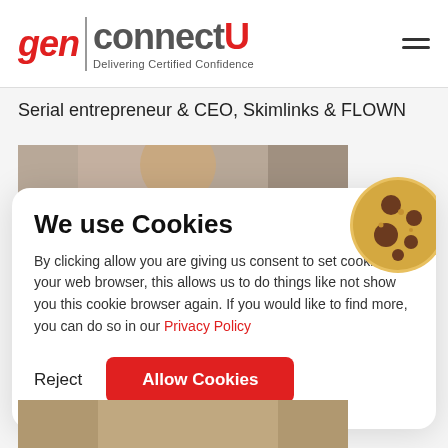[Figure (logo): genconnectU logo with tagline 'Delivering Certified Confidence']
Serial entrepreneur & CEO, Skimlinks & FLOWN
[Figure (photo): Partially visible photo of a woman with dark hair in the background behind the cookie consent banner]
We use Cookies
By clicking allow you are giving us consent to set cookies on your web browser, this allows us to do things like not show you this cookie browser again. If you would like to find more, you can do so in our Privacy Policy
Reject
Allow Cookies